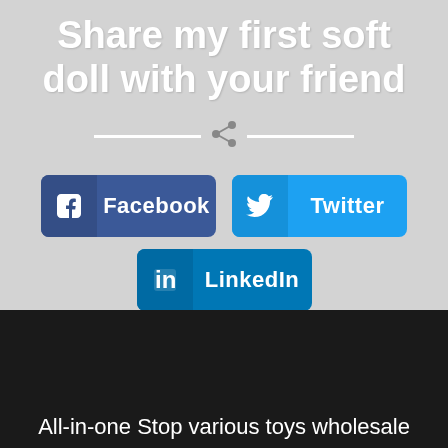Share my first soft doll with your friend
[Figure (infographic): Social sharing buttons section with a share icon between two horizontal white lines, followed by Facebook (dark blue), Twitter (light blue), and LinkedIn (medium blue) share buttons.]
All-in-one Stop various toys wholesale